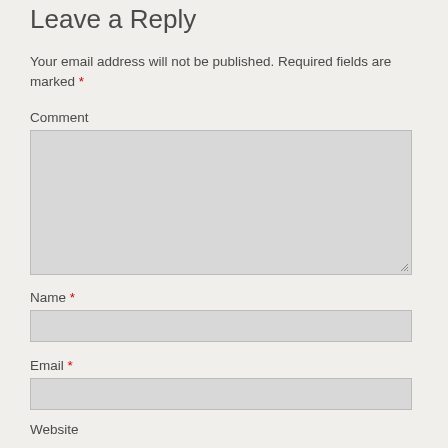Leave a Reply
Your email address will not be published. Required fields are marked *
Comment
[Figure (other): Large textarea input box for comment, with resize handle at bottom right]
Name *
[Figure (other): Single-line text input box for Name]
Email *
[Figure (other): Single-line text input box for Email]
Website